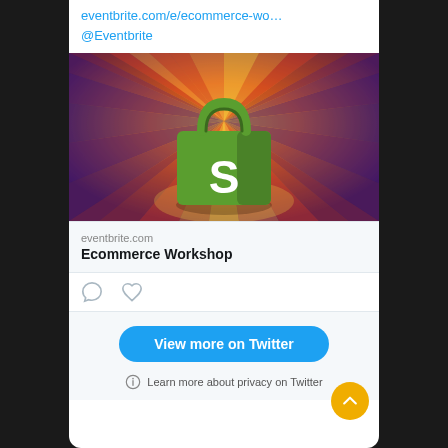eventbrite.com/e/ecommerce-wo…
@Eventbrite
[Figure (illustration): Shopify shopping bag logo on a starburst background with orange, red, yellow, and purple rays radiating from center]
eventbrite.com
Ecommerce Workshop
[Figure (other): Comment and heart action icons]
View more on Twitter
Learn more about privacy on Twitter